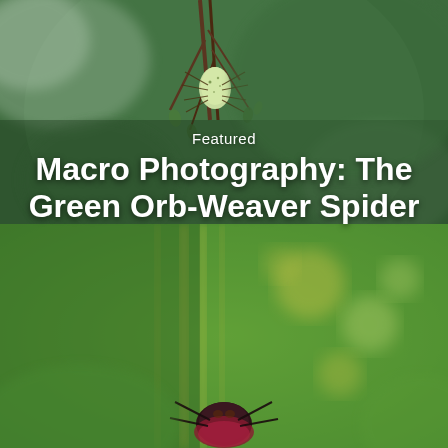[Figure (photo): Top photo: macro close-up of a green orb-weaver spider hanging on plant stems against a blurred green background. The spider appears as a green oval body with long legs, resembling a small green fruit or seed pod.]
Featured
Macro Photography: The Green Orb-Weaver Spider
[Figure (photo): Bottom photo: macro close-up of a dark reddish-purple spider (likely a different spider species) among blurred green foliage with yellow-green bokeh spots in the background.]